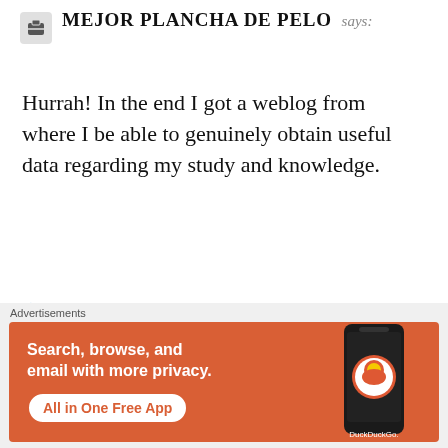MEJOR PLANCHA DE PELO says:
Hurrah! In the end I got a weblog from where I be able to genuinely obtain useful data regarding my study and knowledge.
★ Like
8 FEBRUARY 2015 AT 05:34
[Figure (screenshot): DuckDuckGo advertisement banner: orange background with text 'Search, browse, and email with more privacy. All in One Free App' and a phone showing the DuckDuckGo app logo.]